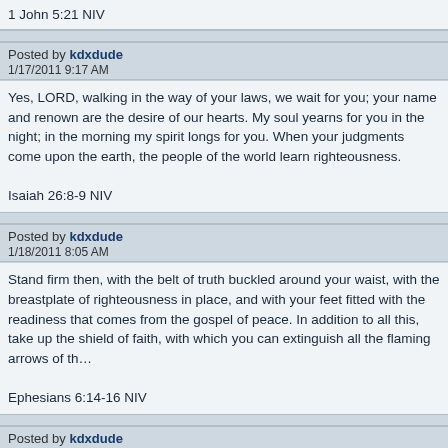1 John 5:21 NIV
Posted by kdxdude
1/17/2011 9:17 AM
Yes, LORD, walking in the way of your laws, we wait for you; your name and renown are the desire of our hearts. My soul yearns for you in the night; in the morning my spirit longs for you. When your judgments come upon the earth, the people of the world learn righteousness.

Isaiah 26:8-9 NIV
Posted by kdxdude
1/18/2011 8:05 AM
Stand firm then, with the belt of truth buckled around your waist, with the breastplate of righteousness in place, and with your feet fitted with the readiness that comes from the gospel of peace. In addition to all this, take up the shield of faith, with which you can extinguish all the flaming arrows of the evil one.

Ephesians 6:14-16 NIV
Posted by kdxdude
1/19/2011 7:09 AM
Do not love the world or anything in the world. If anyone loves the world, the love of the Father is not in him.